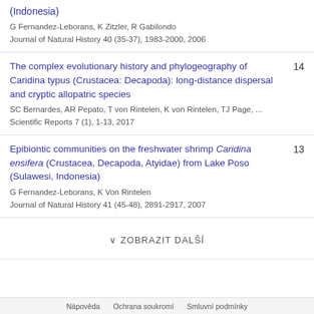(Indonesia) — G Fernandez-Leborans, K Zitzler, R Gabilondo — Journal of Natural History 40 (35-37), 1983-2000, 2006
The complex evolutionary history and phylogeography of Caridina typus (Crustacea: Decapoda): long-distance dispersal and cryptic allopatric species — SC Bernardes, AR Pepato, T von Rintelen, K von Rintelen, TJ Page, ... — Scientific Reports 7 (1), 1-13, 2017 — 14
Epibiontic communities on the freshwater shrimp Caridina ensifera (Crustacea, Decapoda, Atyidae) from Lake Poso (Sulawesi, Indonesia) — G Fernandez-Leborans, K Von Rintelen — Journal of Natural History 41 (45-48), 2891-2917, 2007 — 13
ZOBRAZIT DALŠÍ
Nápověda · Ochrana soukromí · Smluvní podmínky